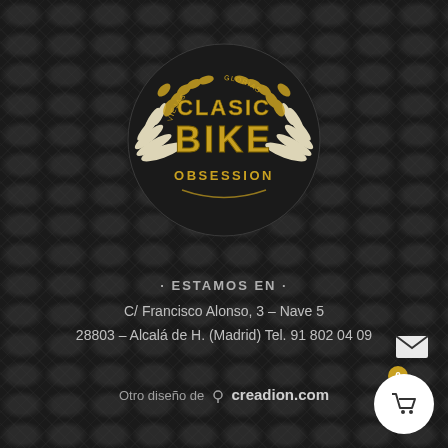[Figure (logo): Clasic Bike Obsession logo — circular emblem with golden laurel wreath, wings, and bold golden text reading CLASIC BIKE OBSESSION on dark background]
ESTAMOS EN
C/ Francisco Alonso, 3 – Nave 5
28803 – Alcalá de H. (Madrid) Tel. 91 802 04 09
Otro diseño de creadion.com